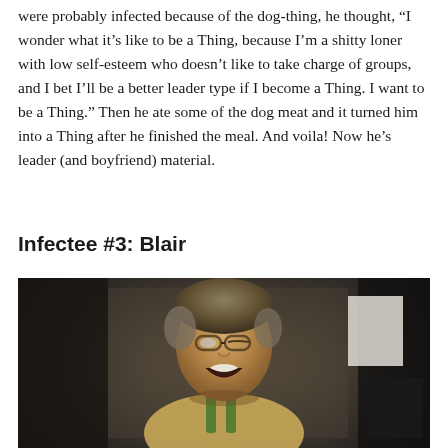were probably infected because of the dog-thing, he thought, “I wonder what it’s like to be a Thing, because I’m a shitty loner with low self-esteem who doesn’t like to take charge of groups, and I bet I’ll be a better leader type if I become a Thing. I want to be a Thing.” Then he ate some of the dog meat and it turned him into a Thing after he finished the meal. And voila! Now he’s leader (and boyfriend) material.
Infectee #3: Blair
[Figure (photo): A man with short graying hair and glasses, mouth open wide as if yelling or in distress, wearing a light tan jacket with green suspenders. Background shows an indoor setting, dimly lit.]